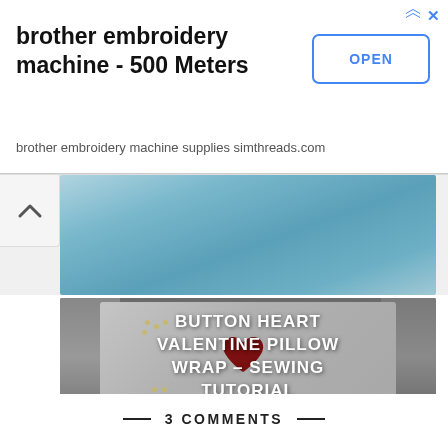[Figure (screenshot): Advertisement banner for brother embroidery machine - 500 Meters. Shows ad title, OPEN button, and subtitle 'brother embroidery machine supplies simthreads.com'. Has forward arrow and X icons at top right.]
[Figure (photo): Scroll-up chevron button on left side, with a cropped view of blue fabric/textile in the background image strip.]
[Figure (photo): Photo of a gray pillow with a dark red button heart design on it, surrounded by leopard print fabric on the sides. White text overlay reads: BUTTON HEART VALENTINE PILLOW WRAP – SEWING TUTORIAL]
3 COMMENTS